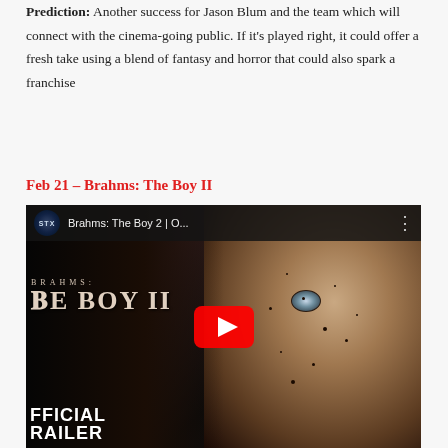Prediction: Another success for Jason Blum and the team which will connect with the cinema-going public. If it's played right, it could offer a fresh take using a blend of fantasy and horror that could also spark a franchise
Feb 21 – Brahms: The Boy II
[Figure (screenshot): YouTube video thumbnail for Brahms: The Boy 2 official trailer, showing a creepy doll face on the right, the movie title 'Brahms: The Boy II' overlaid on dark background on the left, 'OFFICIAL TRAILER' text at the bottom left, and a YouTube play button in the center. The top bar shows STX logo and 'Brahms: The Boy 2 | O...' title.]